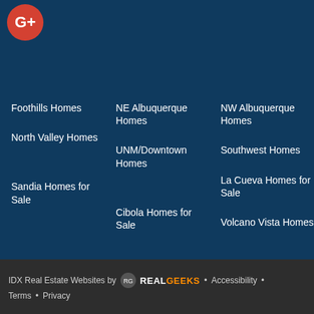[Figure (logo): Google Plus logo - red circle with G+ in white]
Foothills Homes
NE Albuquerque Homes
NW Albuquerque Homes
North Valley Homes
UNM/Downtown Homes
Southwest Homes
La Cueva Homes for Sale
Sandia Homes for Sale
Cibola Homes for Sale
Volcano Vista Homes
IDX Real Estate Websites by RealGeeks • Accessibility • Terms • Privacy